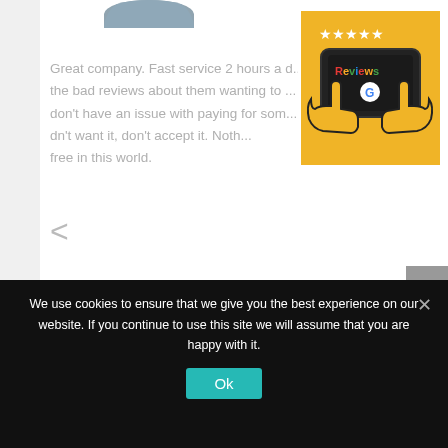[Figure (screenshot): Website screenshot showing a customer review carousel with a yellow Google Reviews badge in the top right corner, a left navigation arrow, and partial review text visible. Below the review text is the reviewer name 'Steven Werner'. A gray scroll-to-top button is visible in the bottom right of the review section.]
Great company. Fast service 2 hours a d... the bad reviews about them wanting to ... don't have an issue with paying for som... dn't want it, don't accept it. Noth... free in this world.
Steven Werner
We use cookies to ensure that we give you the best experience on our website. If you continue to use this site we will assume that you are happy with it.